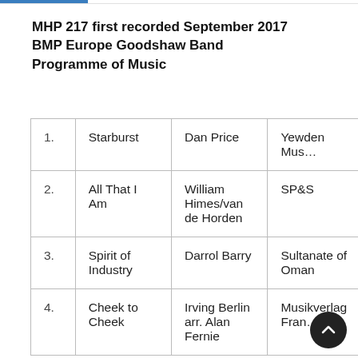MHP 217 first recorded September 2017 BMP Europe Goodshaw Band Programme of Music
|  | Title | Composer | Publisher |
| --- | --- | --- | --- |
| 1. | Starburst | Dan Price | Yewden Mus… |
| 2. | All That I Am | William Himes/van de Horden | SP&S |
| 3. | Spirit of Industry | Darrol Barry | Sultanate of Oman |
| 4. | Cheek to Cheek | Irving Berlin arr. Alan Fernie | Musikverlag Fran… |